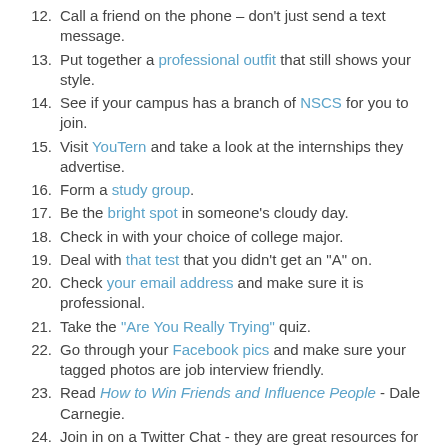12. Call a friend on the phone – don't just send a text message.
13. Put together a professional outfit that still shows your style.
14. See if your campus has a branch of NSCS for you to join.
15. Visit YouTern and take a look at the internships they advertise.
16. Form a study group.
17. Be the bright spot in someone's cloudy day.
18. Check in with your choice of college major.
19. Deal with that test that you didn't get an "A" on.
20. Check your email address and make sure it is professional.
21. Take the "Are You Really Trying" quiz.
22. Go through your Facebook pics and make sure your tagged photos are job interview friendly.
23. Read How to Win Friends and Influence People - Dale Carnegie.
24. Join in on a Twitter Chat - they are great resources for